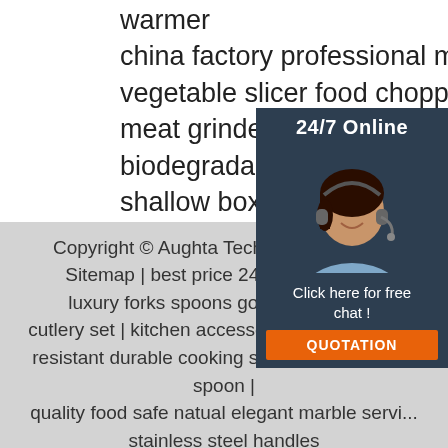warmer
china factory professional manufacture vegetable slicer food chopper kitchenaid meat grinder
biodegradable sugarcane disposable shallow box lid lunch
kitchen gadget peelers vegetable f...
slicer swivel peeler set 3 pcs swive...
[Figure (photo): Customer service representative with headset, 24/7 Online chat widget with blue background, showing 'Click here for free chat!' and orange QUOTATION button]
Copyright © Aughta Technology (Shenzh... Sitemap | best price 24pcs spoon fork... luxury forks spoons gold polished sta... cutlery set | kitchen accessories non-stick heat resistant durable cooking spoon silicone soup spoon | quality food safe natual elegant marble servi... stainless steel handles